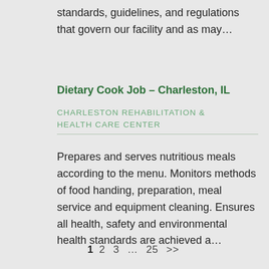standards, guidelines, and regulations that govern our facility and as may…
Dietary Cook Job – Charleston, IL
CHARLESTON REHABILITATION & HEALTH CARE CENTER
Prepares and serves nutritious meals according to the menu. Monitors methods of food handing, preparation, meal service and equipment cleaning. Ensures all health, safety and environmental health standards are achieved a…
1  2  3  …  25  >>